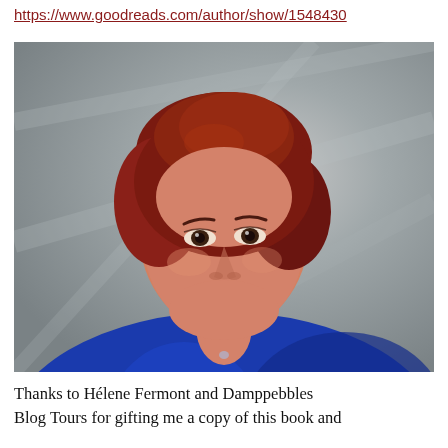https://www.goodreads.com/author/show/1548430
[Figure (photo): Portrait photo of a woman with short red hair, wearing a blue jacket and a thin necklace, posed against a grey background, looking at the camera with a slight smile.]
Thanks to Hélene Fermont and Damppebbles Blog Tours for gifting me a copy of this book and